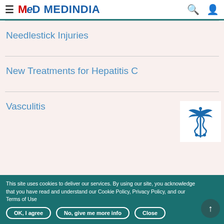MEDINDIA
Needlestick Injuries
New Treatments for Hepatitis C
Vasculitis
[Figure (illustration): Caduceus medical symbol in blue]
This site uses cookies to deliver our services. By using our site, you acknowledge that you have read and understand our Cookie Policy, Privacy Policy, and our Terms of Use